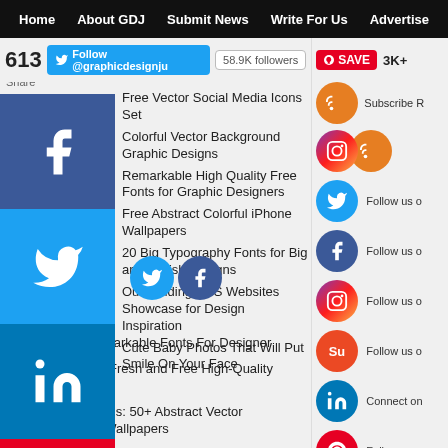Home  About GDJ  Submit News  Write For Us  Advertise
613  Follow @graphicdesignju  58.9K followers  SAVE  3K+
Share
Free Vector Social Media Icons Set
Colorful Vector Background Graphic Designs
Remarkable High Quality Free Fonts for Graphic Designers
Free Abstract Colorful iPhone Wallpapers
20 Big Typography Fonts for Big and Stylish Designs
Outstanding CSS Websites Showcase for Design Inspiration
Cute Baby Photos That Will Put Smile On Your Face
+ Fonts: 50+ Remarkable Fonts For Designer
Free Fonts: 100+ Fresh and Free High-Quality Fonts
Vector Backgrounds: 50+ Abstract Vector Background and Wallpapers
Subscribe
Follow us o
Follow us o
Follow us o
Follow us o
Connect on
Follow us o